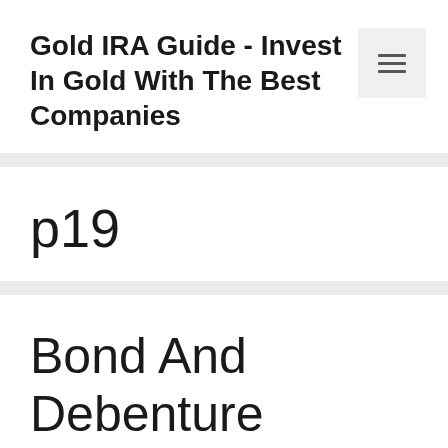Gold IRA Guide - Invest In Gold With The Best Companies
p19
Bond And Debenture